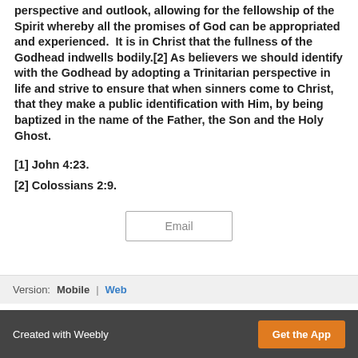perspective and outlook, allowing for the fellowship of the Spirit whereby all the promises of God can be appropriated and experienced. It is in Christ that the fullness of the Godhead indwells bodily.[2] As believers we should identify with the Godhead by adopting a Trinitarian perspective in life and strive to ensure that when sinners come to Christ, that they make a public identification with Him, by being baptized in the name of the Father, the Son and the Holy Ghost.
[1] John 4:23.
[2] Colossians 2:9.
Version: Mobile | Web
Created with Weebly | Get the App